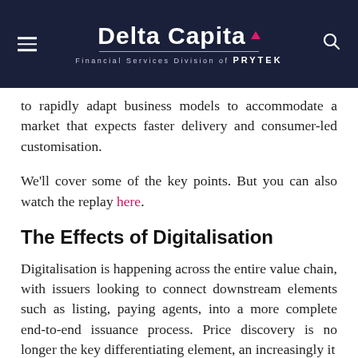Delta Capita — Financial Services Division of PRYTEK
to rapidly adapt business models to accommodate a market that expects faster delivery and consumer-led customisation.
We'll cover some of the key points. But you can also watch the replay here.
The Effects of Digitalisation
Digitalisation is happening across the entire value chain, with issuers looking to connect downstream elements such as listing, paying agents, into a more complete end-to-end issuance process. Price discovery is no longer the key differentiating element, an increasingly it